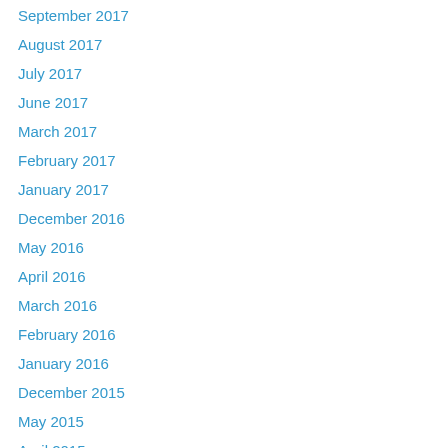September 2017
August 2017
July 2017
June 2017
March 2017
February 2017
January 2017
December 2016
May 2016
April 2016
March 2016
February 2016
January 2016
December 2015
May 2015
April 2015
January 2015
October 2014
September 2014
August 2014